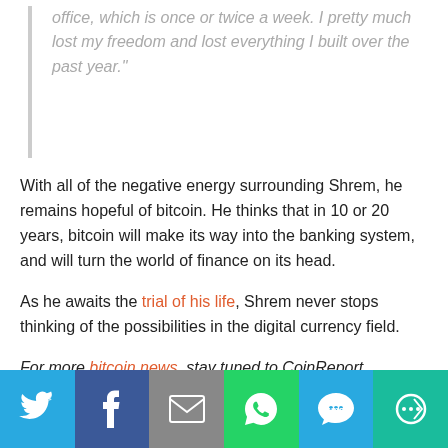office, which is once or twice a week. I pretty much lost my freedom and lost everything I built over the past year.”
With all of the negative energy surrounding Shrem, he remains hopeful of bitcoin. He thinks that in 10 or 20 years, bitcoin will make its way into the banking system, and will turn the world of finance on its head.
As he awaits the trial of his life, Shrem never stops thinking of the possibilities in the digital currency field.
For more bitcoin news, stay tuned to CoinReport.
Follow  2,047 followers
Featured Image
[Figure (infographic): Social sharing bar with Twitter, Facebook, Email, WhatsApp, SMS, and More icons in colored blocks at bottom of page.]